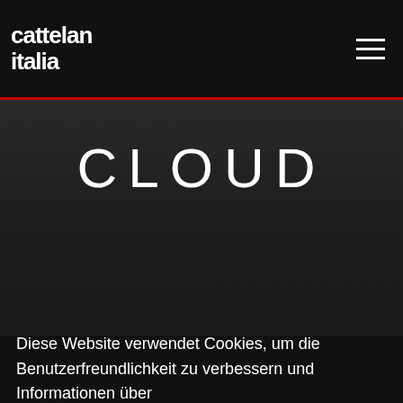cattelan italia
CLOUD
Diese Website verwendet Cookies, um die Benutzerfreundlichkeit zu verbessern und Informationen über